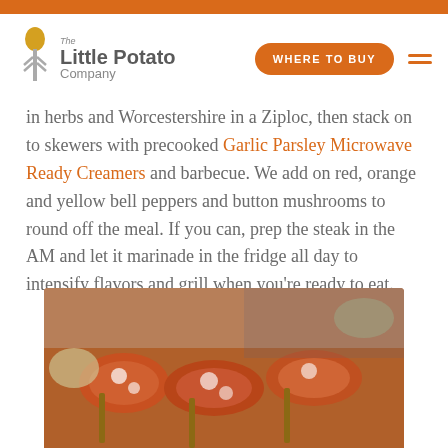The Little Potato Company — WHERE TO BUY
in herbs and Worcestershire in a Ziploc, then stack on to skewers with precooked Garlic Parsley Microwave Ready Creamers and barbecue. We add on red, orange and yellow bell peppers and button mushrooms to round off the meal. If you can, prep the steak in the AM and let it marinade in the fridge all day to intensify flavors and grill when you're ready to eat.
[Figure (photo): Close-up photo of grilled food items including what appears to be grilled creamers/potatoes with toppings on skewers]